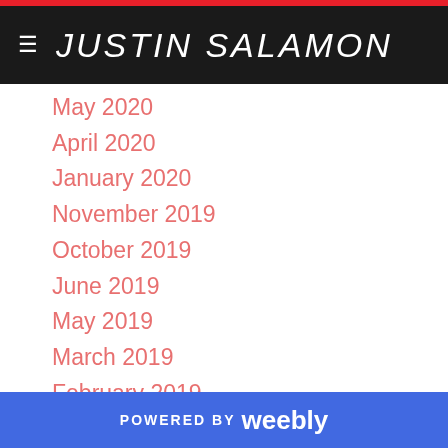JUSTIN SALAMON
May 2020
April 2020
January 2020
November 2019
October 2019
June 2019
May 2019
March 2019
February 2019
January 2019
November 2018
October 2018
August 2018
July 2018
May 2018
POWERED BY weebly